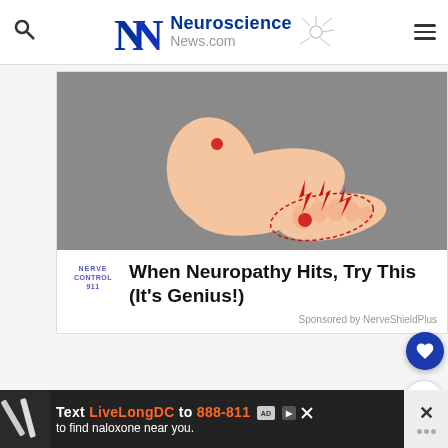[Figure (logo): Neuroscience News.com logo with stylized NN letters and neuron graphic]
[Figure (photo): Advertisement showing a foot with red pain indicators and lightning bolt symbols illustrating neuropathy pain]
When Neuropathy Hits, Try This (It's Genius!)
Sponsored by NerveShieldPlus
[Figure (screenshot): Bottom banner ad: Text LiveLongDC to 888-811 to find naloxone near you.]